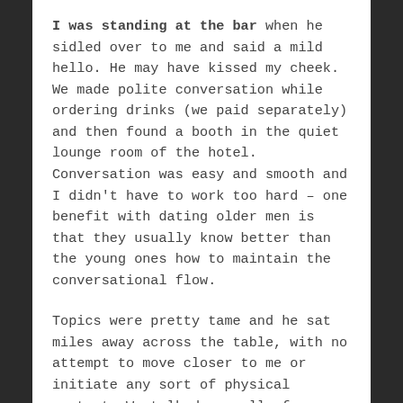I was standing at the bar when he sidled over to me and said a mild hello. He may have kissed my cheek. We made polite conversation while ordering drinks (we paid separately) and then found a booth in the quiet lounge room of the hotel. Conversation was easy and smooth and I didn't have to work too hard – one benefit with dating older men is that they usually know better than the young ones how to maintain the conversational flow.
Topics were pretty tame and he sat miles away across the table, with no attempt to move closer to me or initiate any sort of physical contact. We talked casually for almost two hours, covering topics centred around him and his life, although